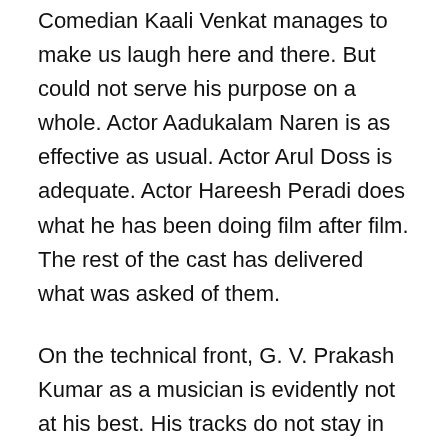Comedian Kaali Venkat manages to make us laugh here and there. But could not serve his purpose on a whole. Actor Aadukalam Naren is as effective as usual. Actor Arul Doss is adequate. Actor Hareesh Peradi does what he has been doing film after film. The rest of the cast has delivered what was asked of them.
On the technical front, G. V. Prakash Kumar as a musician is evidently not at his best. His tracks do not stay in our memory for too long. But his background score aids in building the tense moments in the second half. Cinematographer Saravanan Abimanyu' frames should have been better. Editor Raja Mohammed has deployed his